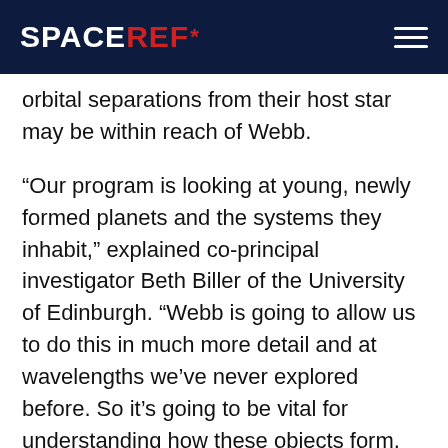SPACEREF*
orbital separations from their host star may be within reach of Webb.
“Our program is looking at young, newly formed planets and the systems they inhabit,” explained co-principal investigator Beth Biller of the University of Edinburgh. “Webb is going to allow us to do this in much more detail and at wavelengths we’ve never explored before. So it’s going to be vital for understanding how these objects form, and what these systems are like.”